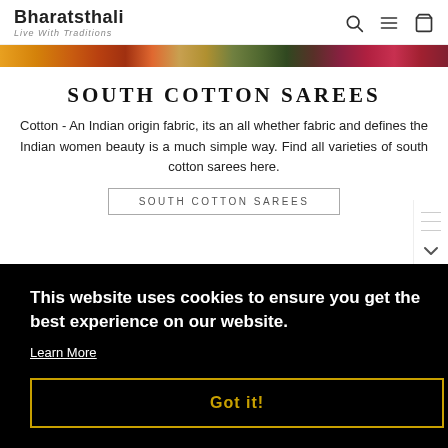Bharatsthali — Live With Traditions
[Figure (photo): Colorful strip of saree fabric textures in orange, red, green, and dark tones]
SOUTH COTTON SAREES
Cotton - An Indian origin fabric, its an all whether fabric and defines the Indian women beauty is a much simple way. Find all varieties of south cotton sarees here.
SOUTH COTTON SAREES
This website uses cookies to ensure you get the best experience on our website. Learn More Got it!
Kerala Kavasu